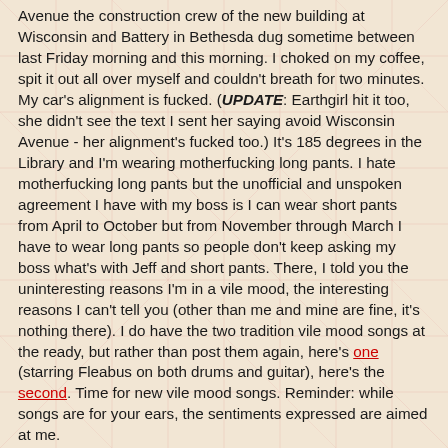Avenue the construction crew of the new building at Wisconsin and Battery in Bethesda dug sometime between last Friday morning and this morning. I choked on my coffee, spit it out all over myself and couldn't breath for two minutes. My car's alignment is fucked. (UPDATE: Earthgirl hit it too, she didn't see the text I sent her saying avoid Wisconsin Avenue - her alignment's fucked too.) It's 185 degrees in the Library and I'm wearing motherfucking long pants. I hate motherfucking long pants but the unofficial and unspoken agreement I have with my boss is I can wear short pants from April to October but from November through March I have to wear long pants so people don't keep asking my boss what's with Jeff and short pants. There, I told you the uninteresting reasons I'm in a vile mood, the interesting reasons I can't tell you (other than me and mine are fine, it's nothing there). I do have the two tradition vile mood songs at the ready, but rather than post them again, here's one (starring Fleabus on both drums and guitar), here's the second. Time for new vile mood songs. Reminder: while songs are for your ears, the sentiments expressed are aimed at me.